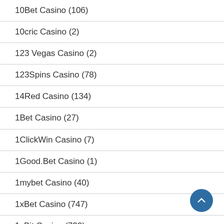10Bet Casino (106)
10cric Casino (2)
123 Vegas Casino (2)
123Spins Casino (78)
14Red Casino (134)
1Bet Casino (27)
1ClickWin Casino (7)
1Good.Bet Casino (1)
1mybet Casino (40)
1xBet Casino (747)
1xBit Casino (730)
1xSlots Casino (795)
20Bet Casino (1)
21 Casino (44)